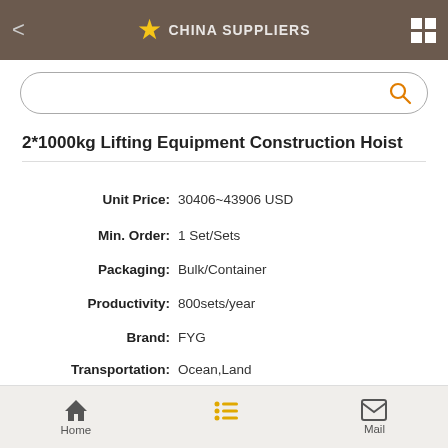CHINA SUPPLIERS
2*1000kg Lifting Equipment Construction Hoist
Unit Price: 30406~43906 USD
Min. Order: 1 Set/Sets
Packaging: Bulk/Container
Productivity: 800sets/year
Brand: FYG
Transportation: Ocean,Land
Place of Origin: Shandong,China
Supply Ability: 800sets/year
Home | Mail